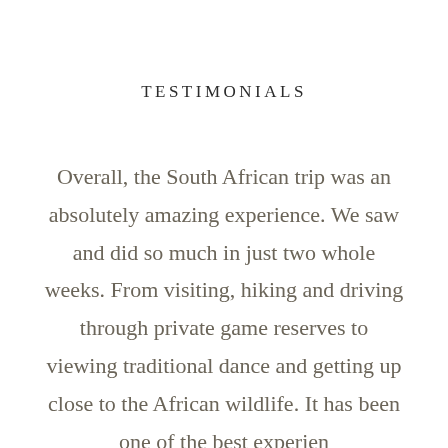TESTIMONIALS
Overall, the South African trip was an absolutely amazing experience. We saw and did so much in just two whole weeks. From visiting, hiking and driving through private game reserves to viewing traditional dance and getting up close to the African wildlife. It has been one of the best experiences